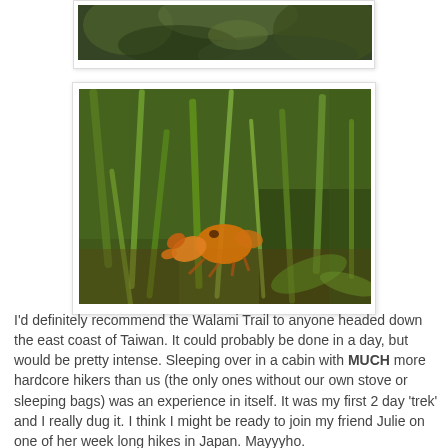[Figure (photo): Partial view of a forested trail scene, green foliage, appears to be the top portion of a nature photo cut off at top of page.]
[Figure (photo): A small orange/yellow crab among dense green grass and vegetation, photographed on the Walami Trail in Taiwan.]
I'd definitely recommend the Walami Trail to anyone headed down the east coast of Taiwan. It could probably be done in a day, but would be pretty intense. Sleeping over in a cabin with MUCH more hardcore hikers than us (the only ones without our own stove or sleeping bags) was an experience in itself. It was my first 2 day 'trek' and I really dug it. I think I might be ready to join my friend Julie on one of her week long hikes in Japan. Mayyyho.